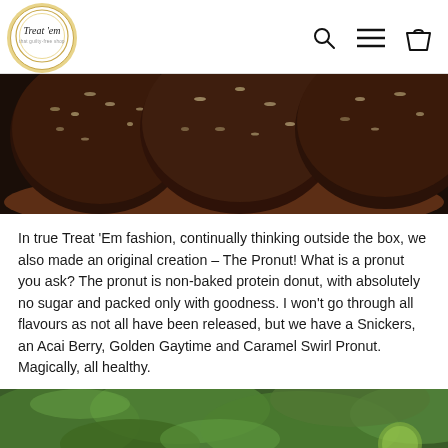Treat 'em — navigation with search, menu, and cart icons
[Figure (photo): Close-up photo of dark chocolate protein balls coated in shredded coconut/nuts, sitting in a brown ceramic bowl.]
In true Treat 'Em fashion, continually thinking outside the box, we also made an original creation – The Pronut! What is a pronut you ask? The pronut is non-baked protein donut, with absolutely no sugar and packed only with goodness. I won't go through all flavours as not all have been released, but we have a Snickers, an Acai Berry, Golden Gaytime and Caramel Swirl Pronut. Magically, all healthy.
[Figure (photo): Blurred green leafy background, partial photo at bottom of page.]